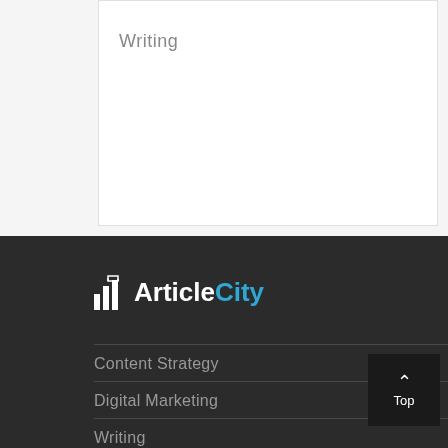Writing
[Figure (logo): ArticleCity logo with bar chart icon, 'Article' in white and 'City' in blue]
Content Strategy
Digital Marketing
Writing
All Articles